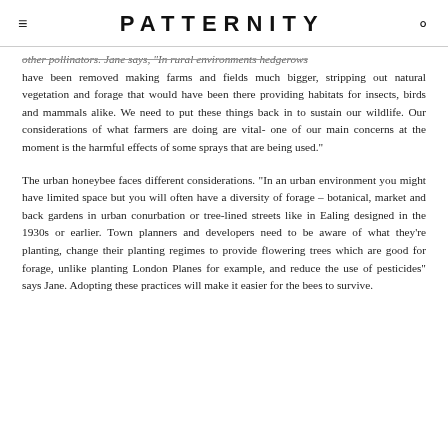PATTERNITY
other pollinators. Jane says, "In rural environments hedgerows have been removed making farms and fields much bigger, stripping out natural vegetation and forage that would have been there providing habitats for insects, birds and mammals alike. We need to put these things back in to sustain our wildlife. Our considerations of what farmers are doing are vital- one of our main concerns at the moment is the harmful effects of some sprays that are being used."
The urban honeybee faces different considerations. "In an urban environment you might have limited space but you will often have a diversity of forage – botanical, market and back gardens in urban conurbation or tree-lined streets like in Ealing designed in the 1930s or earlier. Town planners and developers need to be aware of what they're planting, change their planting regimes to provide flowering trees which are good for forage, unlike planting London Planes for example, and reduce the use of pesticides" says Jane. Adopting these practices will make it easier for the bees to survive.